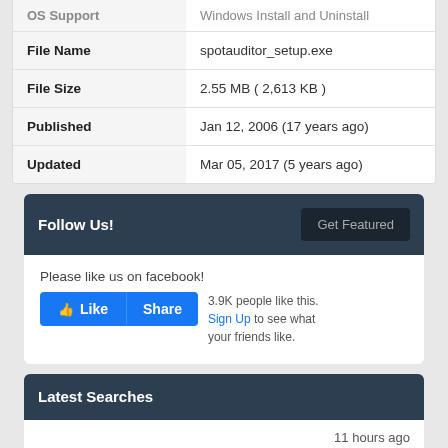| File Name | spotauditor_setup.exe |
| File Size | 2.55 MB ( 2,613 KB ) |
| Published | Jan 12, 2006 (17 years ago) |
| Updated | Mar 05, 2017 (5 years ago) |
Follow Us!
Please like us on facebook!
3.9K people like this.
Sign Up to see what your friends like.
Latest Searches
11 hours ago